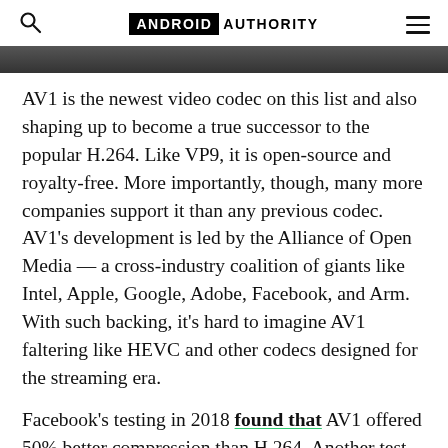ANDROID AUTHORITY
[Figure (photo): Partial image strip at top of article, dark/blurred content]
AV1 is the newest video codec on this list and also shaping up to become a true successor to the popular H.264. Like VP9, it is open-source and royalty-free. More importantly, though, many more companies support it than any previous codec. AV1’s development is led by the Alliance of Open Media — a cross-industry coalition of giants like Intel, Apple, Google, Adobe, Facebook, and Arm. With such backing, it’s hard to imagine AV1 faltering like HEVC and other codecs designed for the streaming era.
Facebook’s testing in 2018 found that AV1 offered 50% better compression than H.264. Another test